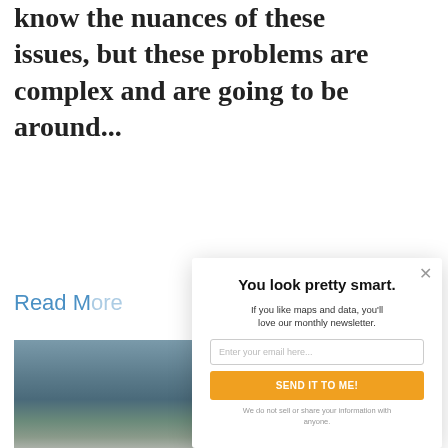know the nuances of these issues, but these problems are complex and are going to be around...
Read More
[Figure (photo): Outdoor photo strip with muted blue-gray tones, appears to show a road or waterway scene]
You look pretty smart.
If you like maps and data, you'll love our monthly newsletter.
Enter your email here...
SEND IT TO ME!
We do not sell or share your information with anyone.